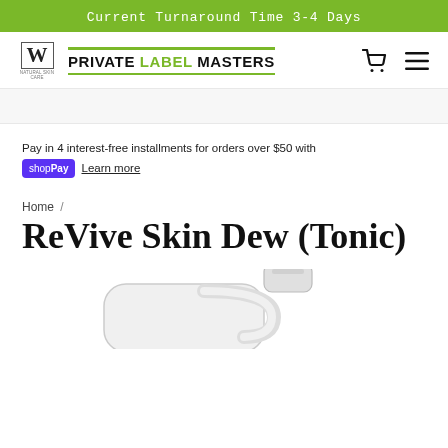Current Turnaround Time 3-4 Days
[Figure (logo): Private Label Masters logo with W emblem and two green horizontal lines]
Pay in 4 interest-free installments for orders over $50 with shop Pay Learn more
Home /
ReVive Skin Dew (Tonic)
[Figure (photo): White plastic bottle/jug with handle and cap, partially visible at bottom of page]